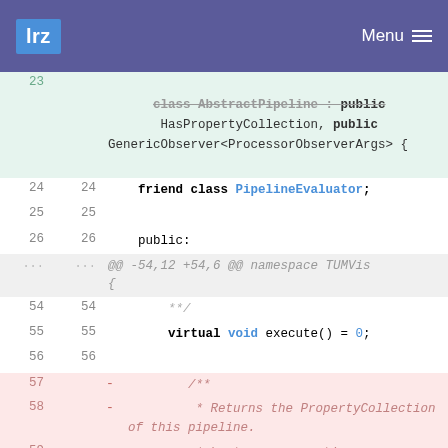lrz  Menu
[Figure (screenshot): Code diff view showing C++ class AbstractPipeline definition with green added lines and red removed lines. Lines 24-26 show friend class PipelineEvaluator and public: declarations. Lines 54-56 show */, virtual void execute() = 0. Lines 57-62 show removed comment block and PropertyCollection& getPropertyCollection() method.]